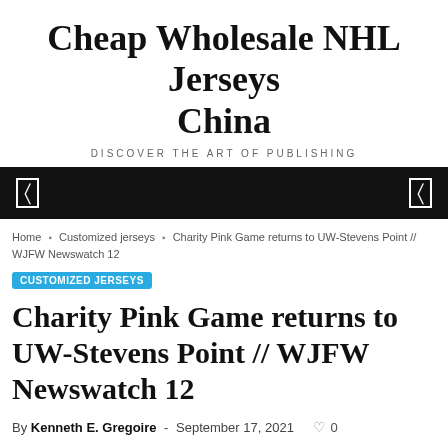Cheap Wholesale NHL Jerseys China
DISCOVER THE ART OF PUBLISHING
Home / Customized jerseys / Charity Pink Game returns to UW-Stevens Point // WJFW Newswatch 12
CUSTOMIZED JERSEYS
Charity Pink Game returns to UW-Stevens Point // WJFW Newswatch 12
By Kenneth E. Gregoire - September 17, 2021  0